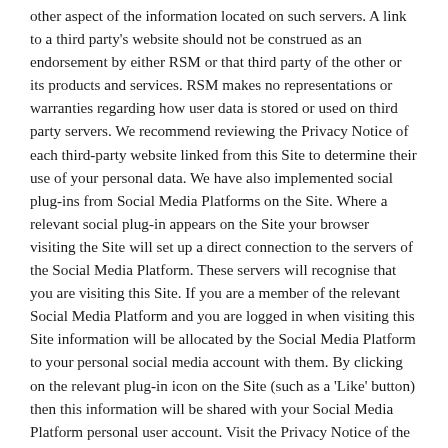other aspect of the information located on such servers. A link to a third party's website should not be construed as an endorsement by either RSM or that third party of the other or its products and services. RSM makes no representations or warranties regarding how user data is stored or used on third party servers. We recommend reviewing the Privacy Notice of each third-party website linked from this Site to determine their use of your personal data. We have also implemented social plug-ins from Social Media Platforms on the Site. Where a relevant social plug-in appears on the Site your browser visiting the Site will set up a direct connection to the servers of the Social Media Platform. These servers will recognise that you are visiting this Site. If you are a member of the relevant Social Media Platform and you are logged in when visiting this Site information will be allocated by the Social Media Platform to your personal social media account with them. By clicking on the relevant plug-in icon on the Site (such as a 'Like' button) then this information will be shared with your Social Media Platform personal user account. Visit the Privacy Notice of the relevant Social Media Platform provider to learn more about